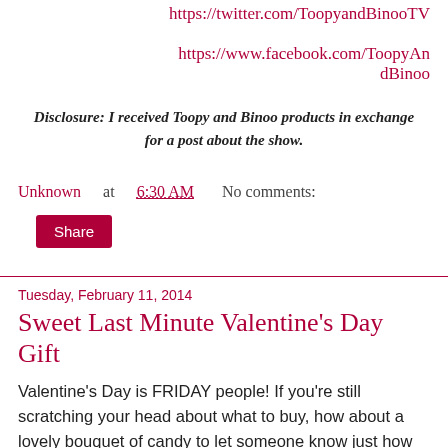https://twitter.com/ToopyandBinooTV
https://www.facebook.com/ToopyAndBinoo
Disclosure: I received Toopy and Binoo products in exchange for a post about the show.
Unknown at 6:30 AM    No comments:
Share
Tuesday, February 11, 2014
Sweet Last Minute Valentine's Day Gift
Valentine's Day is FRIDAY people! If you're still scratching your head about what to buy, how about a lovely bouquet of candy to let someone know just how sweet they are!